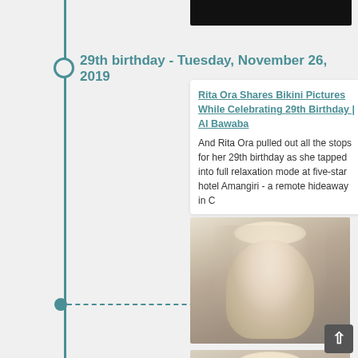[Figure (photo): Dark/black image strip at top right of the page, partially cut off]
29th birthday - Tuesday, November 26, 2019
Rita Ora Shares Bikini Pictures While Celebrating 29th Birthday | Al Bawaba
And Rita Ora pulled out all the stops for her 29th birthday as she tapped into full relaxation mode at five-star hotel Amangiri - a remote hideaway in C
[Figure (photo): Photo of a blonde woman (Rita Ora) wearing a silver/white sparkly dress, looking at the camera]
[Figure (photo): Second photo of the same blonde woman (Rita Ora), partially visible, cropped at the bottom of the page]